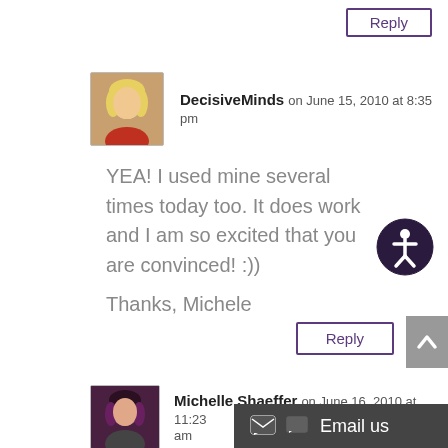[Figure (screenshot): Reply button at top right, purple border]
[Figure (photo): Avatar photo of DecisiveMinds - woman with blonde hair]
DecisiveMinds on June 15, 2010 at 8:35 pm
YEA! I used mine several times today too. It does work and I am so excited that you are convinced! :))
Thanks, Michele
[Figure (illustration): Accessibility icon - person in circle, dark purple]
[Figure (screenshot): Reply button, purple border]
[Figure (illustration): Scroll to top button, grey arrow]
[Figure (photo): Avatar photo of Michelle Shaeffer - woman with dark hair]
Michelle Shaeffer on June 16, 2010 at 11:23 am
[Figure (screenshot): Email us button with chat icon on dark background]